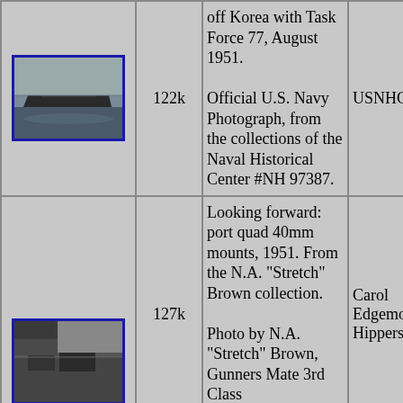| Image | Size | Description | Credit |
| --- | --- | --- | --- |
| [ship photo] | 122k | off Korea with Task Force 77, August 1951.

Official U.S. Navy Photograph, from the collections of the Naval Historical Center #NH 97387. | USNHC |
| [ship deck photo 0413542] | 127k | Looking forward: port quad 40mm mounts, 1951. From the N.A. "Stretch" Brown collection.

Photo by N.A. "Stretch" Brown, Gunners Mate 3rd Class | Carol Edgemont Hipperson |